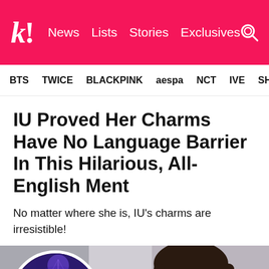k! News Lists Stories Exclusives
BTS TWICE BLACKPINK aespa NCT IVE SHINE
IU Proved Her Charms Have No Language Barrier In This Hilarious, All-English Ment
No matter where she is, IU's charms are irresistible!
[Figure (photo): Left: circular cropped photo of IU performing on stage with microphone under purple/blue lighting, with a pink downward arrow below. Right: portrait photo of IU with long dark hair, natural makeup, wearing a white outfit.]